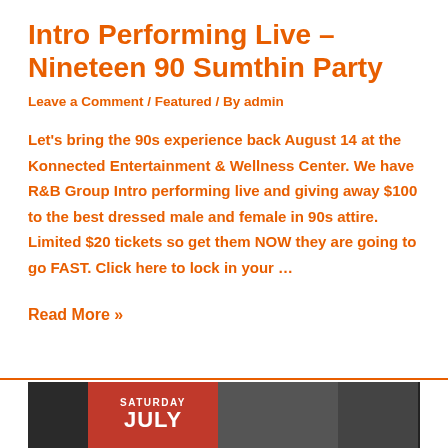Intro Performing Live – Nineteen 90 Sumthin Party
Leave a Comment / Featured / By admin
Let's bring the 90s experience back August 14 at the Konnected Entertainment & Wellness Center. We have R&B Group Intro performing live and giving away $100 to the best dressed male and female in 90s attire. Limited $20 tickets so get them NOW they are going to go FAST. Click here to lock in your …
Read More »
[Figure (photo): Photo strip showing event promotional image with Saturday July text on red background and people in dark background]